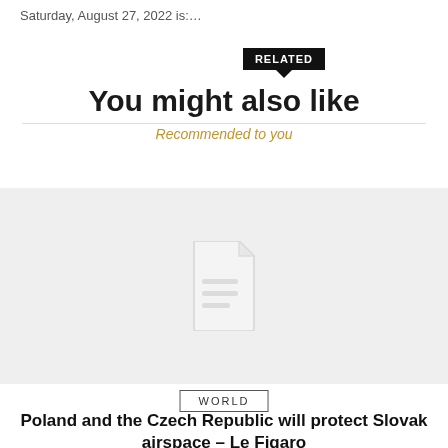Saturday, August 27, 2022 is:…
You might also like
Recommended to you
[Figure (illustration): Placeholder image card with a document/file icon on a light gray background]
WORLD
Poland and the Czech Republic will protect Slovak airspace – Le Figaro